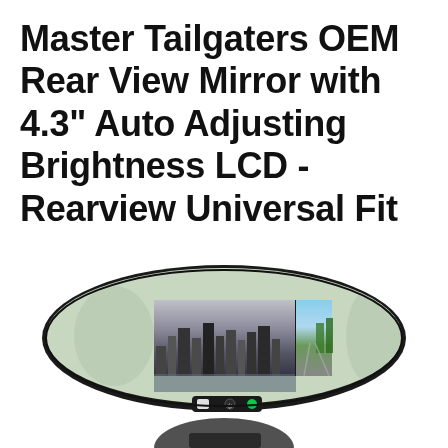Master Tailgaters OEM Rear View Mirror with 4.3" Auto Adjusting Brightness LCD - Rearview Universal Fit
[Figure (photo): A rear view mirror with an embedded 4.3 inch LCD screen showing a city skyline (black and white) on the left half and a road with trees (color) on the right half. The mirror has control buttons at the bottom center including a white button, a power button, and a green LED indicator. Below the mirror is a partial view of a windshield mount bracket.]